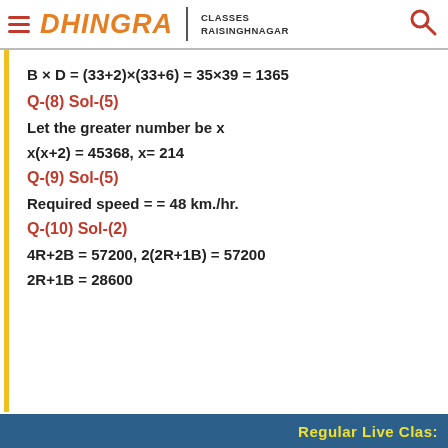DHINGRA CLASSES RAISINGHNAGAR
Q-(8) Sol-(5)
Let the greater number be x
Q-(9) Sol-(5)
Required speed = = 48 km./hr.
Q-(10) Sol-(2)
Regular Live Clas: